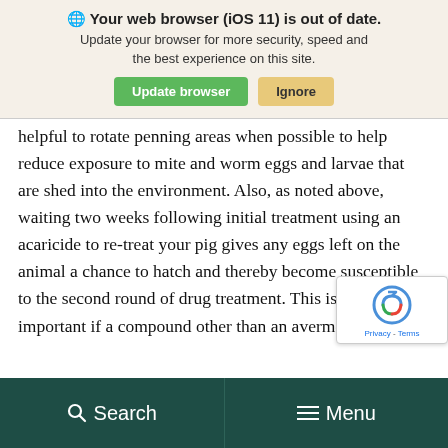🌐 Your web browser (iOS 11) is out of date. Update your browser for more security, speed and the best experience on this site. [Update browser] [Ignore]
helpful to rotate penning areas when possible to help reduce exposure to mite and worm eggs and larvae that are shed into the environment. Also, as noted above, waiting two weeks following initial treatment using an acaricide to re-treat your pig gives any eggs left on the animal a chance to hatch and thereby become susceptible to the second round of drug treatment. This is especially important if a compound other than an avermectin is use
Search   Menu